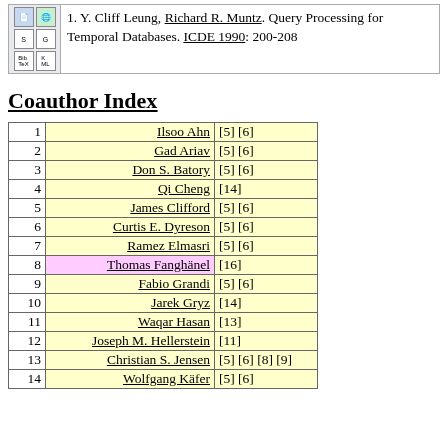1. Y. Cliff Leung, Richard R. Muntz. Query Processing for Temporal Databases. ICDE 1990: 200-208
Coauthor Index
| # | Name | Refs |
| --- | --- | --- |
| 1 | Ilsoo Ahn | [5] [6] |
| 2 | Gad Ariav | [5] [6] |
| 3 | Don S. Batory | [5] [6] |
| 4 | Qi Cheng | [14] |
| 5 | James Clifford | [5] [6] |
| 6 | Curtis E. Dyreson | [5] [6] |
| 7 | Ramez Elmasri | [5] [6] |
| 8 | Thomas Fanghänel | [16] |
| 9 | Fabio Grandi | [5] [6] |
| 10 | Jarek Gryz | [14] |
| 11 | Waqar Hasan | [13] |
| 12 | Joseph M. Hellerstein | [11] |
| 13 | Christian S. Jensen | [5] [6] [8] [9] |
| 14 | Wolfgang Käfer | [5] [6] |